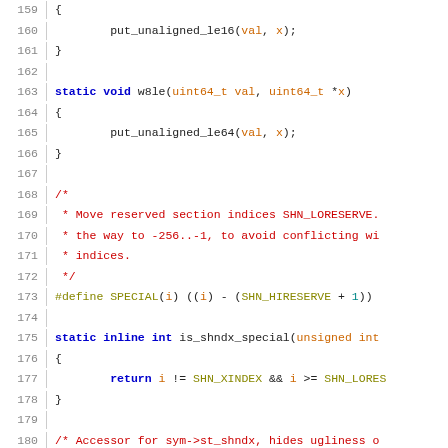Source code lines 159-180, C programming language
159  {
160      put_unaligned_le16(val, x);
161  }
162
163  static void w8le(uint64_t val, uint64_t *x)
164  {
165      put_unaligned_le64(val, x);
166  }
167
168  /*
169   * Move reserved section indices SHN_LORESERVE..
170   * the way to -256..-1, to avoid conflicting wi
171   * indices.
172   */
173  #define SPECIAL(i) ((i) - (SHN_HIRESERVE + 1))
174
175  static inline int is_shndx_special(unsigned int
176  {
177      return i != SHN_XINDEX && i >= SHN_LORES
178  }
179
180  /* Accessor for sym->st_shndx, hides ugliness o